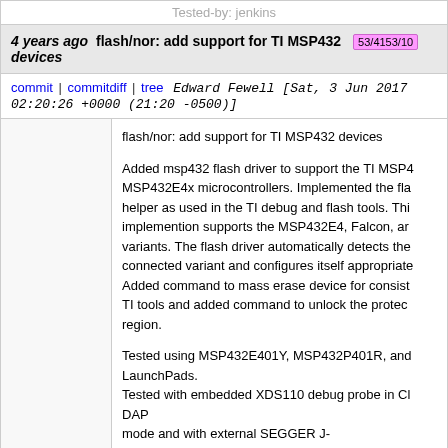Tested-by: jenkins
4 years ago flash/nor: add support for TI MSP432 devices 53/4153/10
commit | commitdiff | tree   Edward Fewell [Sat, 3 Jun 2017 02:20:26 +0000 (21:20 -0500)]
flash/nor: add support for TI MSP432 devices

Added msp432 flash driver to support the TI MSP432E4x microcontrollers. Implemented the flash helper as used in the TI debug and flash tools. This implemention supports the MSP432E4, Falcon, and variants. The flash driver automatically detects the connected variant and configures itself appropriately. Added command to mass erase device for consistency with TI tools and added command to unlock the protected region.

Tested using MSP432E401Y, MSP432P401R, and LaunchPads.
Tested with embedded XDS110 debug probe in CMSIS-DAP
mode and with external SEGGER J-Link probe.

Removed ti_msp432p4xx.cfg file made obsolete by this patch.
Change-
Id: I0b02d29...